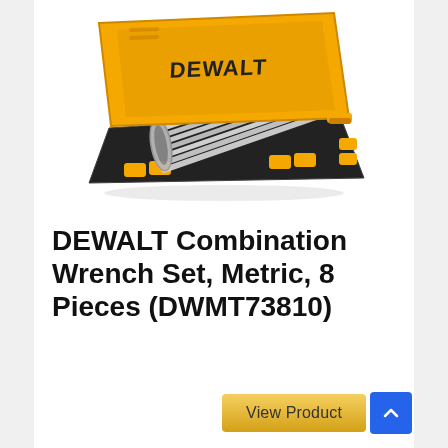[Figure (photo): DEWALT combination wrench set in a black and yellow tool case, lid open showing 8 metric wrenches arranged inside, DEWALT logo on yellow lid.]
DEWALT Combination Wrench Set, Metric, 8 Pieces (DWMT73810)